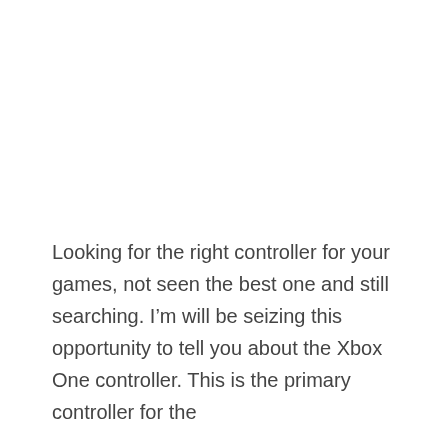Looking for the right controller for your games, not seen the best one and still searching. I'm will be seizing this opportunity to tell you about the Xbox One controller. This is the primary controller for the